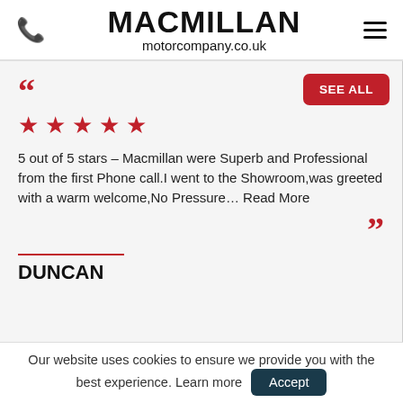MACMILLAN motorcompany.co.uk
[Figure (screenshot): Review card with open quote mark, 5 red stars, review text from Duncan, close quote mark, reviewer name DUNCAN, and SEE ALL button]
5 out of 5 stars - Macmillan were Superb and Professional from the first Phone call.I went to the Showroom,was greeted with a warm welcome,No Pressure... Read More
DUNCAN
Our website uses cookies to ensure we provide you with the best experience. Learn more